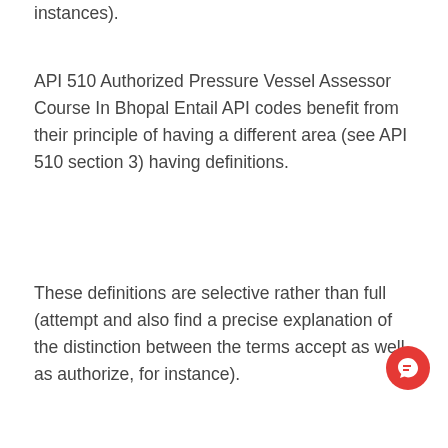instances).
API 510 Authorized Pressure Vessel Assessor Course In Bhopal Entail API codes benefit from their principle of having a different area (see API 510 section 3) having definitions.
These definitions are selective rather than full (attempt and also find a precise explanation of the distinction between the terms accept as well as authorize, for instance).